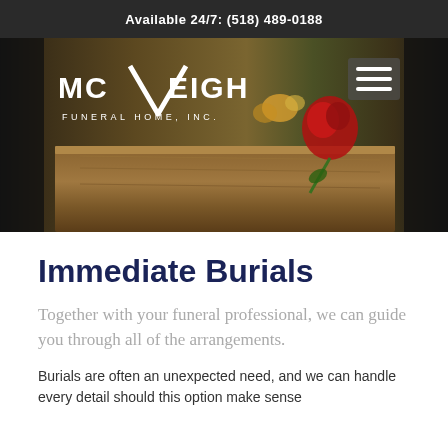Available 24/7: (518) 489-0188
[Figure (photo): Hero banner image showing a wooden casket with a red rose on top, with the McVeigh Funeral Home, Inc. logo overlaid on the left and a hamburger menu icon on the right. Dark sidebar strips on left and right edges.]
Immediate Burials
Together with your funeral professional, we can guide you through all of the arrangements.
Burials are often an unexpected need, and we can handle every detail should this option make sense